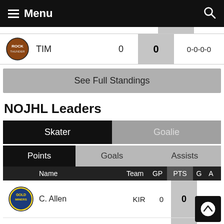Menu
|  | Team |  | PTS | Record |
| --- | --- | --- | --- | --- |
|  | TIM | 0 | 0 | 0-0-0-0 |
See Full Standings
NOJHL Leaders
Skater | Goalie
Points | Goals | Assists
| Name | Team | GP | PTS | G | A |
| --- | --- | --- | --- | --- | --- |
| C. Allen | KIR | 0 | 0 | 0 | 0 |
| V. Anderson | SMI | 0 | 0 | 0 | 0 |
| A. Antoine | ELI | 0 | 0 | 0 | 0 |